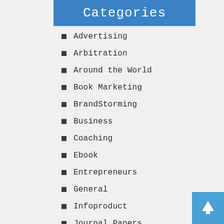Categories
Advertising
Arbitration
Around the World
Book Marketing
BrandStorming
Business
Coaching
Ebook
Entrepreneurs
General
Infoproduct
Journal Papers
JV demo
Magazine